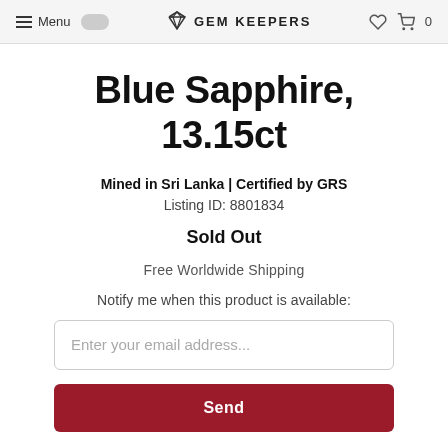Menu | GEM KEEPERS | ♡ 🛒 0
Blue Sapphire, 13.15ct
Mined in Sri Lanka | Certified by GRS
Listing ID: 8801834
Sold Out
Free Worldwide Shipping
Notify me when this product is available:
Enter your email address...
Send